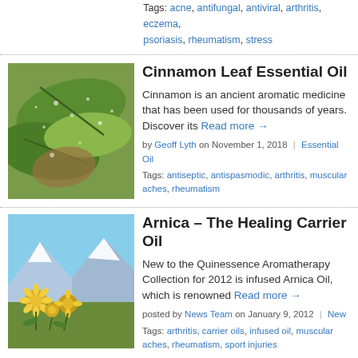Tags: acne, antifungal, antiviral, arthritis, eczema, psoriasis, rheumatism, stress
Cinnamon Leaf Essential Oil
[Figure (photo): Close-up of green cinnamon leaves with water droplets]
Cinnamon is an ancient aromatic medicine that has been used for thousands of years. Discover its Read more →
by Geoff Lyth on November 1, 2018 | Essential Oil
Tags: antiseptic, antispasmodic, arthritis, muscular aches, rheumatism
Arnica – The Healing Carrier Oil
[Figure (photo): Yellow arnica flowers in mountain meadow with snow-capped peaks in background]
New to the Quinessence Aromatherapy Collection for 2012 is infused Arnica Oil, which is renowned Read more →
posted by News Team on January 9, 2012 | New
Tags: arthritis, carrier oils, infused oil, muscular aches, rheumatism, sport injuries